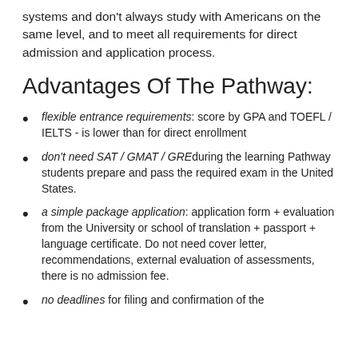systems and don't always study with Americans on the same level, and to meet all requirements for direct admission and application process.
Advantages Of The Pathway:
flexible entrance requirements: score by GPA and TOEFL / IELTS - is lower than for direct enrollment
don't need SAT / GMAT / GRE during the learning Pathway students prepare and pass the required exam in the United States.
a simple package application: application form + evaluation from the University or school of translation + passport + language certificate. Do not need cover letter, recommendations, external evaluation of assessments, there is no admission fee.
no deadlines for filing and confirmation of the